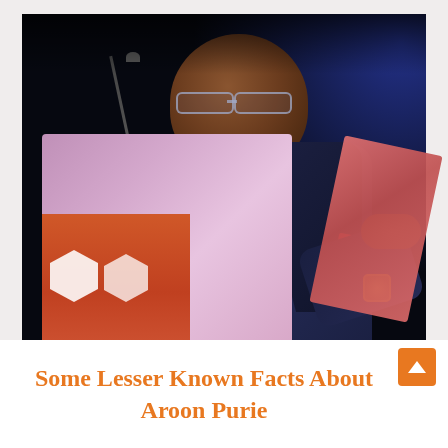[Figure (photo): A man in a dark navy suit speaking at a podium with a pink/purple top, with an orange branded banner and hexagonal logos on the front. He is holding red papers, wearing glasses and a watch, with a microphone in front of him. Dark background with blue ambient lighting.]
Some Lesser Known Facts About Aroon Purie